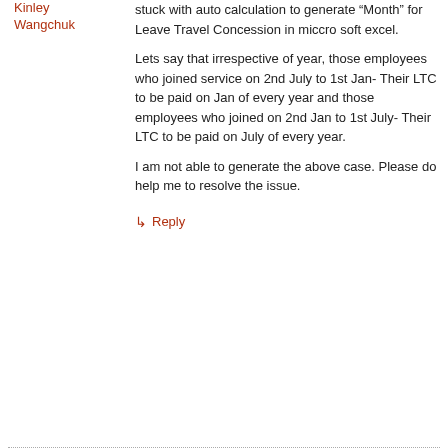Kinley Wangchuk
stuck with auto calculation to generate “Month” for Leave Travel Concession in miccro soft excel.
Lets say that irrespective of year, those employees who joined service on 2nd July to 1st Jan- Their LTC to be paid on Jan of every year and those employees who joined on 2nd Jan to 1st July- Their LTC to be paid on July of every year.
I am not able to generate the above case. Please do help me to resolve the issue.
↳ Reply